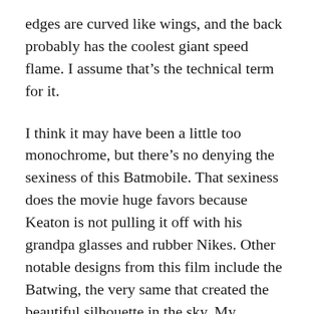edges are curved like wings, and the back probably has the coolest giant speed flame. I assume that's the technical term for it.
I think it may have been a little too monochrome, but there's no denying the sexiness of this Batmobile. That sexiness does the movie huge favors because Keaton is not pulling it off with his grandpa glasses and rubber Nikes. Other notable designs from this film include the Batwing, the very same that created the beautiful silhouette in the sky. My personal favorite is when Penguin's goons try to break into it in Returns. Locking the Batmobile